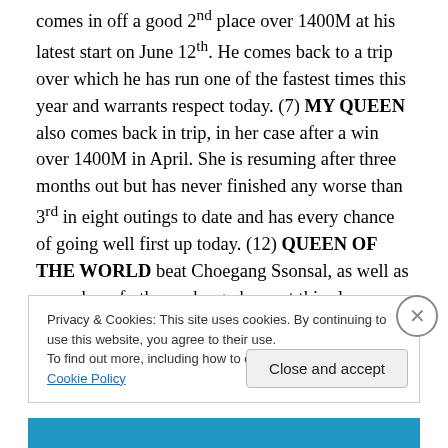comes in off a good 2nd place over 1400M at his latest start on June 12th. He comes back to a trip over which he has run one of the fastest times this year and warrants respect today. (7) MY QUEEN also comes back in trip, in her case after a win over 1400M in April. She is resuming after three months out but has never finished any worse than 3rd in eight outings to date and has every chance of going well first up today. (12) QUEEN OF THE WORLD beat Choegang Ssonsal, as well as a number of others who go here, at this class over 1400M on June 12th. She made all that day but will possibly have a harder time from
Privacy & Cookies: This site uses cookies. By continuing to use this website, you agree to their use.
To find out more, including how to control cookies, see here: Cookie Policy